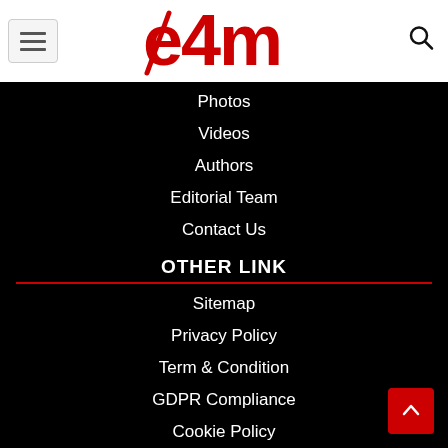[Figure (logo): e4m red logo on white header bar with hamburger menu icon on left and search icon on right]
Photos
Videos
Authors
Editorial Team
Contact Us
OTHER LINK
Sitemap
Privacy Policy
Term & Condition
GDPR Compliance
Cookie Policy
Corrections Policy